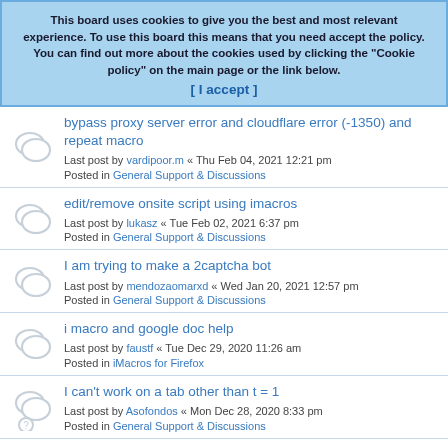This board uses cookies to give you the best and most relevant experience. To use this board this means that you need accept the policy. You can find out more about the cookies used by clicking the "Cookie policy" on the main page or the link below. [ I accept ]
bypass proxy server error and cloudflare error (-1350) and repeat macro
Last post by vardipoor.m « Thu Feb 04, 2021 12:21 pm
Posted in General Support & Discussions
edit/remove onsite script using imacros
Last post by lukasz « Tue Feb 02, 2021 6:37 pm
Posted in General Support & Discussions
I am trying to make a 2captcha bot
Last post by mendozaomarxd « Wed Jan 20, 2021 12:57 pm
Posted in General Support & Discussions
i macro and google doc help
Last post by faustf « Tue Dec 29, 2020 11:26 am
Posted in iMacros for Firefox
I can't work on a tab other than t = 1
Last post by Asofondos « Mon Dec 28, 2020 8:33 pm
Posted in General Support & Discussions